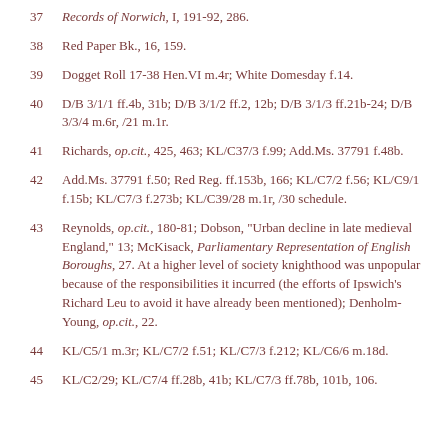37  Records of Norwich, I, 191-92, 286.
38  Red Paper Bk., 16, 159.
39  Dogget Roll 17-38 Hen.VI m.4r; White Domesday f.14.
40  D/B 3/1/1 ff.4b, 31b; D/B 3/1/2 ff.2, 12b; D/B 3/1/3 ff.21b-24; D/B 3/3/4 m.6r, /21 m.1r.
41  Richards, op.cit., 425, 463; KL/C37/3 f.99; Add.Ms. 37791 f.48b.
42  Add.Ms. 37791 f.50; Red Reg. ff.153b, 166; KL/C7/2 f.56; KL/C9/1 f.15b; KL/C7/3 f.273b; KL/C39/28 m.1r, /30 schedule.
43  Reynolds, op.cit., 180-81; Dobson, "Urban decline in late medieval England," 13; McKisack, Parliamentary Representation of English Boroughs, 27. At a higher level of society knighthood was unpopular because of the responsibilities it incurred (the efforts of Ipswich's Richard Leu to avoid it have already been mentioned); Denholm-Young, op.cit., 22.
44  KL/C5/1 m.3r; KL/C7/2 f.51; KL/C7/3 f.212; KL/C6/6 m.18d.
45  KL/C2/29; KL/C7/4 ff.28b, 41b; KL/C7/3 ff.78b, 101b, 106.